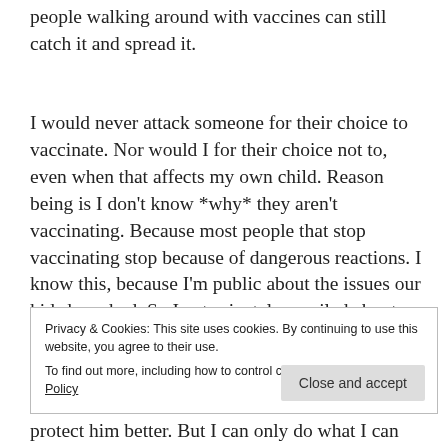people walking around with vaccines can still catch it and spread it.
I would never attack someone for their choice to vaccinate. Nor would I for their choice not to, even when that affects my own child. Reason being is I don't know *why* they aren't vaccinating. Because most people that stop vaccinating stop because of dangerous reactions. I know this, because I'm public about the issues our kids have had. So I get privately emailed about this by parents asking me questions and telling me how they got attacked. This is a huge problem
Privacy & Cookies: This site uses cookies. By continuing to use this website, you agree to their use.
To find out more, including how to control cookies, see here: Cookie Policy
protect him better. But I can only do what I can